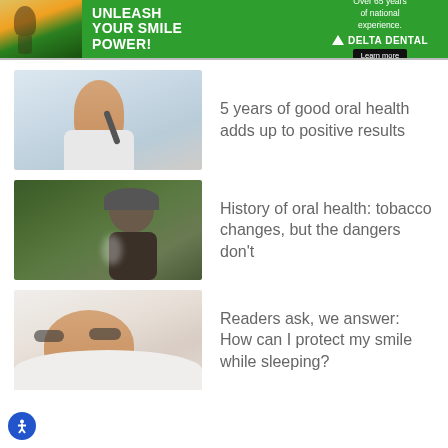[Figure (infographic): Delta Dental advertisement banner with green background. Text: UNLEASH YOUR SMILE POWER! Over 65 years of national experience. Delta Dental logo. Learn more button.]
[Figure (photo): Young man brushing his teeth, light background]
5 years of good oral health adds up to positive results
[Figure (photo): Person smoking outdoors in a wooded area, wearing a beanie hat]
History of oral health: tobacco changes, but the dangers don't
[Figure (photo): Person sleeping, smiling while resting on a pillow]
Readers ask, we answer: How can I protect my smile while sleeping?